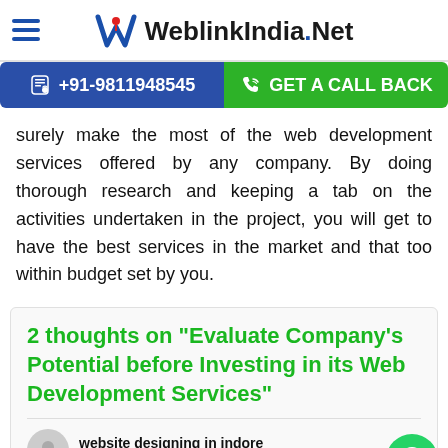WeblinkIndia.Net
+91-9811948545   GET A CALL BACK
surely make the most of the web development services offered by any company. By doing thorough research and keeping a tab on the activities undertaken in the project, you will get to have the best services in the market and that too within budget set by you.
2 thoughts on "Evaluate Company's Potential before Investing in its Web Development Services"
website designing in indore
24 August, 2011 at 9:00 am